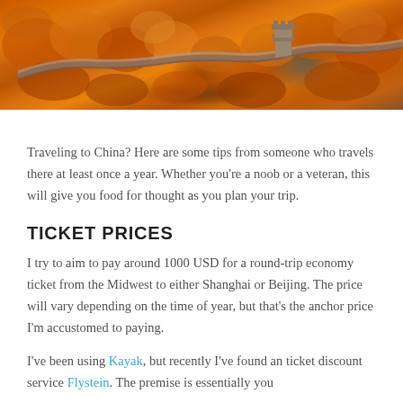[Figure (photo): Aerial photo of the Great Wall of China surrounded by orange and red autumn foliage trees, with a watchtower visible.]
Traveling to China? Here are some tips from someone who travels there at least once a year. Whether you're a noob or a veteran, this will give you food for thought as you plan your trip.
TICKET PRICES
I try to aim to pay around 1000 USD for a round-trip economy ticket from the Midwest to either Shanghai or Beijing. The price will vary depending on the time of year, but that's the anchor price I'm accustomed to paying.
I've been using Kayak, but recently I've found an ticket discount service Flystein. The premise is essentially you